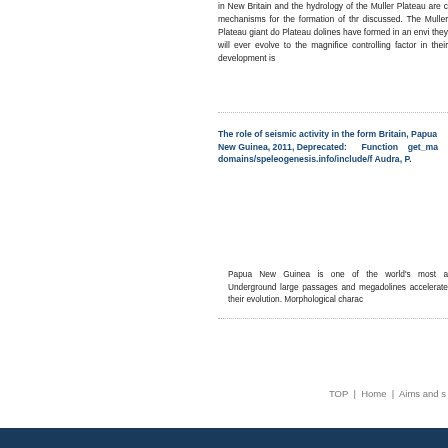in New Britain and the hydrology of the Muller Plateau are c mechanisms for the formation of thr discussed. The Muller Plateau giant do Plateau dolines have formed in an env they will ever evolve to the magnific controlling factor in their development is
The role of seismic activity in the form Britain, Papua New Guinea, 2011, Deprecated: Function get_ma domains/speleogenesis.info/include/f Audra, P.
Papua New Guinea is one of the world's most a Underground large passages and megadolines accelerate their evolution. Morphological charac
TOP | Home | Aims and s